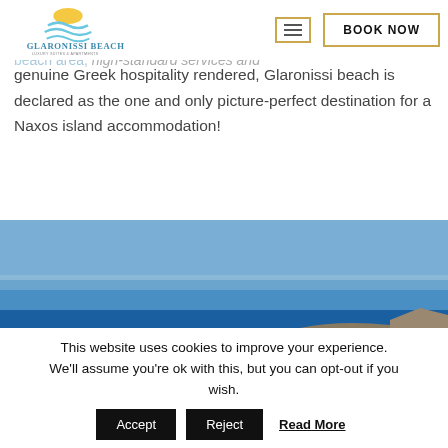Glaronissi Beach Luxury Suites & Apartments — BOOK NOW
and offers views to the Aegean Sea, clubbing as a privilege, absolute access to the beach area, high-standard services and
genuine Greek hospitality rendered, Glaronissi beach is declared as the one and only picture-perfect destination for a Naxos island accommodation!
[Figure (photo): Aerial view of a Greek island coastline showing the Aegean Sea, a sandy beach, and coastal village with white buildings, mountains in background]
This website uses cookies to improve your experience. We'll assume you're ok with this, but you can opt-out if you wish. Accept Reject Read More